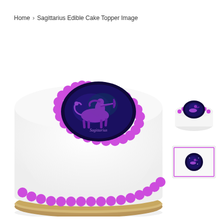Home > Sagittarius Edible Cake Topper Image
[Figure (photo): Large round white cake with purple frosting border and a Sagittarius zodiac edible image topper on a cardboard cake board]
[Figure (photo): Small round thumbnail of Sagittarius edible cake topper disc]
[Figure (photo): Small rectangular thumbnail of Sagittarius edible cake topper sheet]